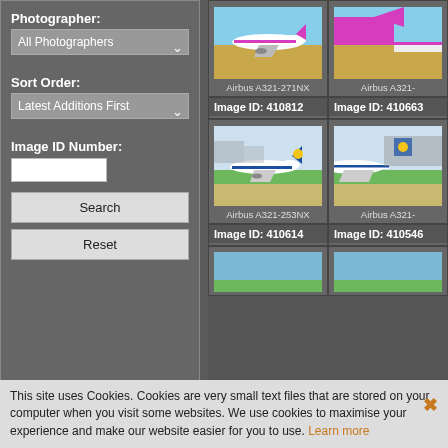Photographer:
All Photographers
Sort Order:
Latest Additions First
Image ID Number:
Search
Reset
[Figure (photo): Wizzair Airbus A321-271NX aircraft on tarmac, pink and white livery, Image ID shown above]
Airbus A321-271NX
[Figure (photo): Wizzair Airbus A321 aircraft tail section visible, pink livery, partial view]
Airbus A321-
Image ID: 410812
Image ID: 410663
[Figure (photo): China Southern Airbus A321-253NX aircraft on taxiway, blue and white livery with sun logo]
Airbus A321-253NX
[Figure (photo): China Southern Airbus A321 aircraft, partial view, blue and white livery]
Airbus A321-
Image ID: 410614
Image ID: 410546
This site uses Cookies. Cookies are very small text files that are stored on your computer when you visit some websites. We use cookies to maximise your experience and make our website easier for you to use. Learn more